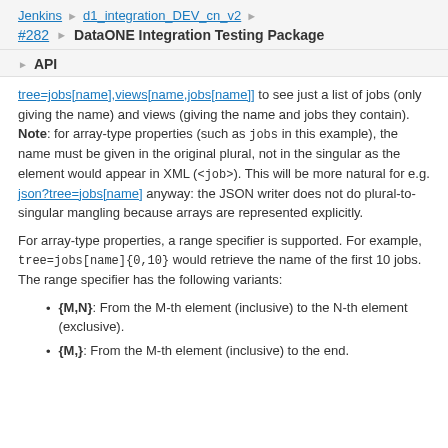Jenkins › d1_integration_DEV_cn_v2 ›
#282 › DataONE Integration Testing Package
▶ API
tree=jobs[name],views[name,jobs[name]] to see just a list of jobs (only giving the name) and views (giving the name and jobs they contain). Note: for array-type properties (such as jobs in this example), the name must be given in the original plural, not in the singular as the element would appear in XML (<job>). This will be more natural for e.g. json?tree=jobs[name] anyway: the JSON writer does not do plural-to-singular mangling because arrays are represented explicitly.
For array-type properties, a range specifier is supported. For example, tree=jobs[name]{0,10} would retrieve the name of the first 10 jobs. The range specifier has the following variants:
{M,N}: From the M-th element (inclusive) to the N-th element (exclusive).
{M,}: From the M-th element (inclusive) to the end.